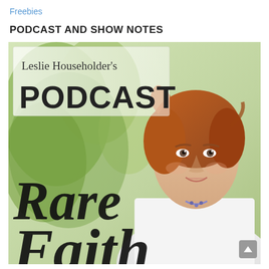Freebies
PODCAST AND SHOW NOTES
[Figure (photo): Leslie Householder's Podcast cover image showing a smiling woman with auburn hair wearing a white blazer, against a green leafy background. Text overlay reads 'Leslie Householder's PODCAST' at the top and 'Rare Faith' in large script at the bottom.]